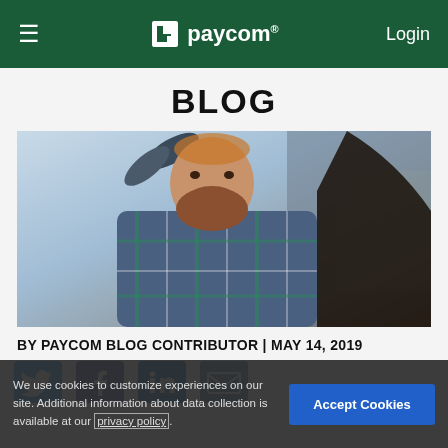≡  paycom®  Login
BLOG
[Figure (photo): A bearded man in a plaid shirt with arms raised, photographed from below against a light background, with a blurred dark figure in the foreground right.]
BY PAYCOM BLOG CONTRIBUTOR | MAY 14, 2019
[Figure (infographic): Social media sharing icons: Twitter, Facebook, LinkedIn, Email]
We use cookies to customize experiences on our site. Additional information about data collection is available at our privacy policy.